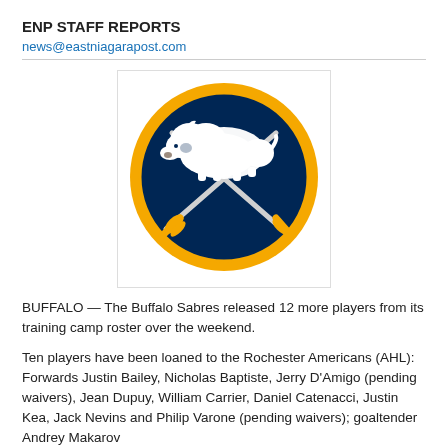ENP STAFF REPORTS
news@eastniagarapost.com
[Figure (logo): Buffalo Sabres logo: dark navy circle with gold ring, two crossed sabers, white buffalo silhouette on top]
BUFFALO — The Buffalo Sabres released 12 more players from its training camp roster over the weekend.
Ten players have been loaned to the Rochester Americans (AHL): Forwards Justin Bailey, Nicholas Baptiste, Jerry D'Amigo (pending waivers), Jean Dupuy, William Carrier, Daniel Catenacci, Justin Kea, Jack Nevins and Philip Varone (pending waivers); goaltender Andrey Makarov